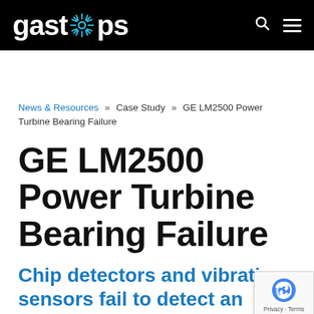gastops
News & Resources » Case Study » GE LM2500 Power Turbine Bearing Failure
GE LM2500 Power Turbine Bearing Failure
Chip detectors and vibration sensors fail to detect an